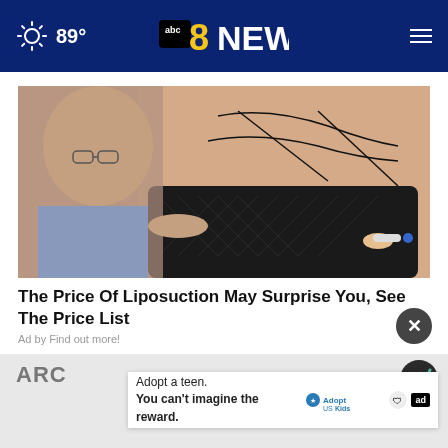89° abc8NEWS
[Figure (photo): A doctor drawing liposuction procedure lines on a patient's abdomen and hip area with a marker pen.]
The Price Of Liposuction May Surprise You, See The Price List
Ad by Find out more!
ARC
[Figure (logo): Comscore logo — teal and dark circular icon]
[Figure (infographic): Ad banner: Adopt a teen. You can't imagine the reward. Adopt US Kids logo with ad tag.]